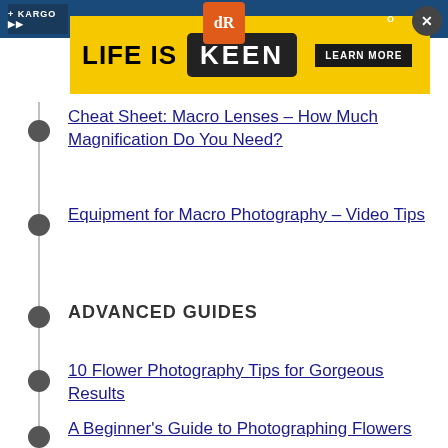[Figure (screenshot): Top navigation bar with Kargo logo, dR logo, search and close icons, and a KEEN 'Life Is' yellow advertisement banner]
Cheat Sheet: Macro Lenses – How Much Magnification Do You Need?
Equipment for Macro Photography – Video Tips
ADVANCED GUIDES
10 Flower Photography Tips for Gorgeous Results
A Beginner's Guide to Photographing Flowers
How to Photograph Beautiful Winter Snowdrops (or Other Flowers)
A Beginner's Guide to Abstract Flower Photography